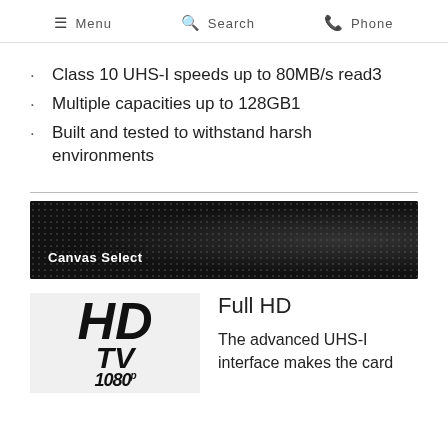Menu  Search  Phone
Class 10 UHS-I speeds up to 80MB/s read3
Multiple capacities up to 128GB1
Built and tested to withstand harsh environments
[Figure (photo): Dark textured banner with dot pattern background and white text reading 'Canvas Select']
[Figure (logo): HD TV logo in bold italic black text on light grey background, showing 'HD TV 1080p']
Full HD
The advanced UHS-I interface makes the card